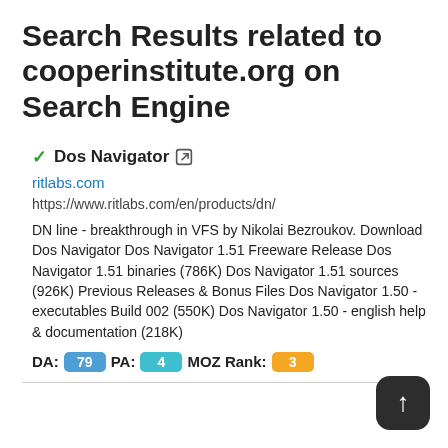Search Results related to cooperinstitute.org on Search Engine
✓Dos Navigator 🔗
ritlabs.com
https://www.ritlabs.com/en/products/dn/
DN line - breakthrough in VFS by Nikolai Bezroukov. Download Dos Navigator Dos Navigator 1.51 Freeware Release Dos Navigator 1.51 binaries (786K) Dos Navigator 1.51 sources (926K) Previous Releases & Bonus Files Dos Navigator 1.50 - executables Build 002 (550K) Dos Navigator 1.50 - english help & documentation (218K)
DA: 79  PA: 4  MOZ Rank: 3